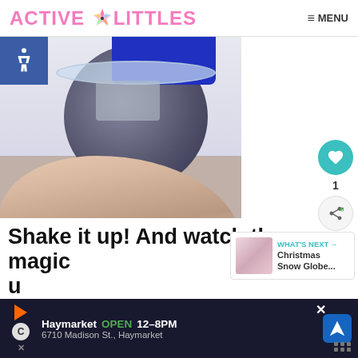ACTIVE LITTLES — MENU
[Figure (photo): Close-up photo of a hand holding a round toy/ball with a clear plastic rim and dark center, with a blue object visible at top. Watermark: activelittles.com]
1
WHAT'S NEXT → Christmas Snow Globe...
Shake it up! And watch the magic up
Haymarket OPEN 12–8PM 6710 Madison St., Haymarket